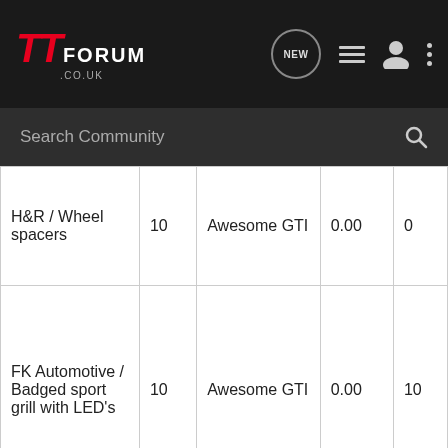TT Forum .co.uk — navigation bar with NEW, list, user, and menu icons
Search Community
| Product | Qty | Supplier | Price | Count |
| --- | --- | --- | --- | --- |
| H&R / Wheel spacers | 10 | Awesome GTI | 0.00 | 0 |
| FK Automotive / Badged sport grill with LED's | 10 | Awesome GTI | 0.00 | 10 |
| TID / FG Bonnet | 10 | The TT Shop | 0.00 | 0 |